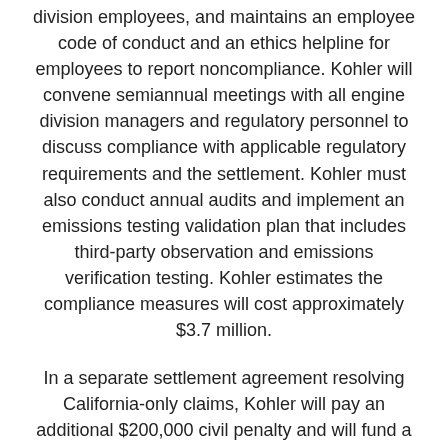division employees, and maintains an employee code of conduct and an ethics helpline for employees to report noncompliance. Kohler will convene semiannual meetings with all engine division managers and regulatory personnel to discuss compliance with applicable regulatory requirements and the settlement. Kohler must also conduct annual audits and implement an emissions testing validation plan that includes third-party observation and emissions verification testing. Kohler estimates the compliance measures will cost approximately $3.7 million.
In a separate settlement agreement resolving California-only claims, Kohler will pay an additional $200,000 civil penalty and will fund a program that will supply $1.8 million worth of solar-battery generators to low-income residents in California that live in areas subject to public safety power shutoffs to mitigate wildfire risk.
The proposed settlements, lodged in the U.S. District Court for the Northern District of California, are subject to final court approval. The settlements are the...